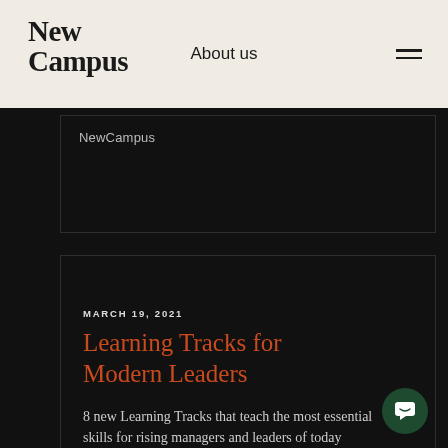NewCampus — About us
NewCampus
MARCH 19, 2021
Learning Tracks for Modern Leaders
8 new Learning Tracks that teach the most essential skills for rising managers and leaders of today